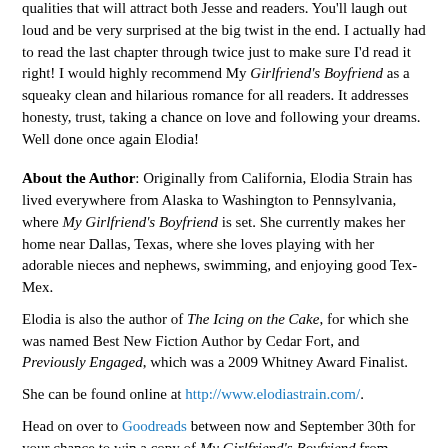qualities that will attract both Jesse and readers. You'll laugh out loud and be very surprised at the big twist in the end. I actually had to read the last chapter through twice just to make sure I'd read it right! I would highly recommend My Girlfriend's Boyfriend as a squeaky clean and hilarious romance for all readers. It addresses honesty, trust, taking a chance on love and following your dreams. Well done once again Elodia!
About the Author: Originally from California, Elodia Strain has lived everywhere from Alaska to Washington to Pennsylvania, where My Girlfriend's Boyfriend is set. She currently makes her home near Dallas, Texas, where she loves playing with her adorable nieces and nephews, swimming, and enjoying good Tex-Mex.
Elodia is also the author of The Icing on the Cake, for which she was named Best New Fiction Author by Cedar Fort, and Previously Engaged, which was a 2009 Whitney Award Finalist.
She can be found online at http://www.elodiastrain.com/.
Head on over to Goodreads between now and September 30th for your chance to win a copy of My Girlfriend's Boyfriend from Cedar